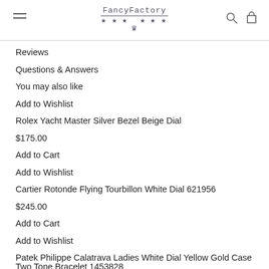FancyFactory
Reviews
Questions & Answers
You may also like
Add to Wishlist
Rolex Yacht Master Silver Bezel Beige Dial
$175.00
Add to Cart
Add to Wishlist
Cartier Rotonde Flying Tourbillon White Dial 621956
$245.00
Add to Cart
Add to Wishlist
Patek Philippe Calatrava Ladies White Dial Yellow Gold Case Two Tone Bracelet 1453828
$245.00